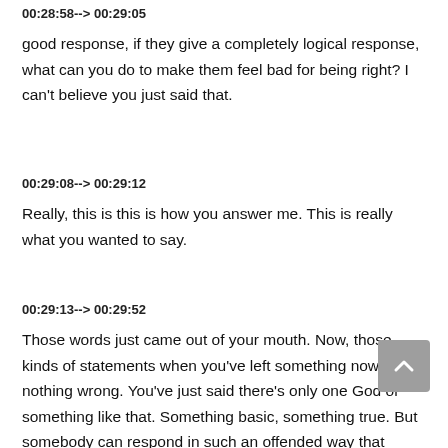00:28:58--> 00:29:05
good response, if they give a completely logical response, what can you do to make them feel bad for being right? I can't believe you just said that.
00:29:08--> 00:29:12
Really, this is this is how you answer me. This is really what you wanted to say.
00:29:13--> 00:29:52
Those words just came out of your mouth. Now, those kinds of statements when you've left something now, nothing wrong. You've just said there's only one God or something like that. Something basic, something true. But somebody can respond in such an offended way that you're like, taking step back. And I don't want to